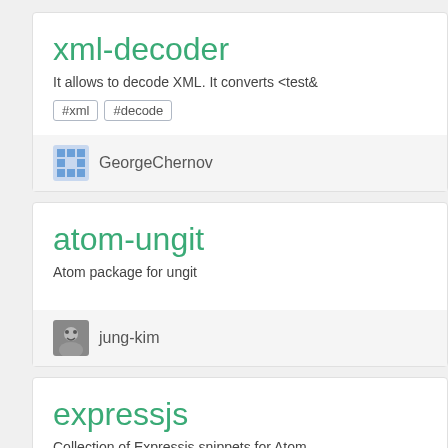xml-decoder
It allows to decode XML. It converts &lt;test&
#xml
#decode
GeorgeChernov
atom-ungit
Atom package for ungit
jung-kim
expressjs
Collection of Expressjs snippets for Atom
#nodejs
#snippet
#javascript
#express
#expr...